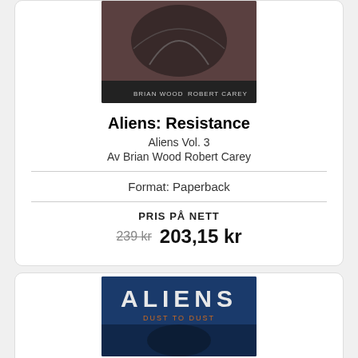[Figure (photo): Book cover for Aliens: Resistance showing alien creature artwork with authors Brian Wood and Robert Carey]
Aliens: Resistance
Aliens Vol. 3
Av Brian Wood Robert Carey
Format: Paperback
PRIS PÅ NETT
239 kr  203,15 kr
[Figure (photo): Book cover for Aliens: Dust to Dust showing stylized ALIENS text on blue background]